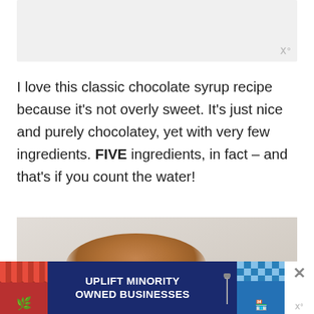[Figure (photo): Light gray placeholder image at the top of the page, showing a cropped food photo with a watermark logo in the bottom-right corner]
I love this classic chocolate syrup recipe because it's not overly sweet. It's just nice and purely chocolatey, yet with very few ingredients. FIVE ingredients, in fact – and that's if you count the water!
[Figure (photo): Partial photo of a white bowl filled with cocoa powder on a light marble or stone surface, with an advertisement banner overlaid at the bottom]
[Figure (infographic): Advertisement banner: 'UPLIFT MINORITY OWNED BUSINESSES' with storefront graphics on dark blue background, with close buttons on the right side and a watermark logo]